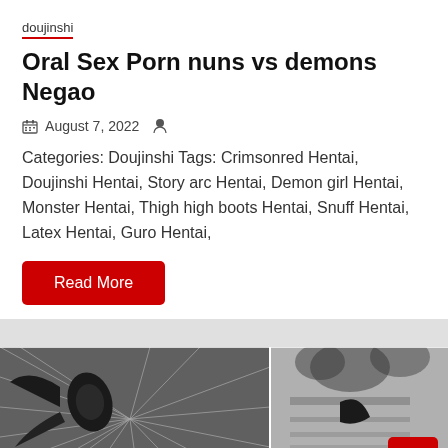doujinshi
Oral Sex Porn nuns vs demons Negao
August 7, 2022
Categories: Doujinshi Tags: Crimsonred Hentai, Doujinshi Hentai, Story arc Hentai, Demon girl Hentai, Monster Hentai, Thigh high boots Hentai, Snuff Hentai, Latex Hentai, Guro Hentai,
Read More
[Figure (illustration): Black and white manga/doujinshi illustration showing dynamic action scene with speed lines and figures]